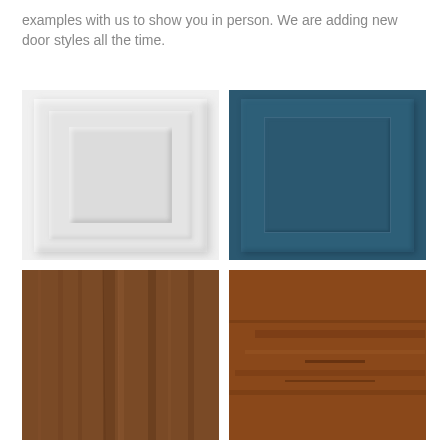examples with us to show you in person. We are adding new door styles all the time.
[Figure (photo): White raised panel cabinet door sample]
[Figure (photo): Dark teal/navy blue raised panel cabinet door sample]
[Figure (photo): Dark brown wood grain cabinet door sample]
[Figure (photo): Rusty brown distressed wood grain cabinet door sample]